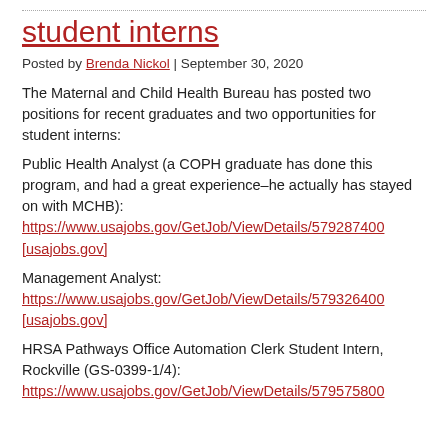student interns
Posted by Brenda Nickol | September 30, 2020
The Maternal and Child Health Bureau has posted two positions for recent graduates and two opportunities for student interns:
Public Health Analyst (a COPH graduate has done this program, and had a great experience–he actually has stayed on with MCHB): https://www.usajobs.gov/GetJob/ViewDetails/579287400 [usajobs.gov]
Management Analyst: https://www.usajobs.gov/GetJob/ViewDetails/579326400 [usajobs.gov]
HRSA Pathways Office Automation Clerk Student Intern, Rockville (GS-0399-1/4): https://www.usajobs.gov/GetJob/ViewDetails/579575800